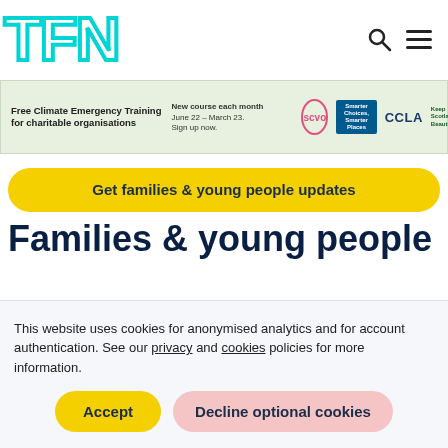[Figure (logo): TFN logo in cyan/teal outline block letters]
[Figure (infographic): Banner advertisement for Free Climate Emergency Training for charitable organisations, featuring SCVO, Smarter Choices Smarter Places, CCLA, and Keep Scotland Beautiful logos]
Get families & young people updates
Families & young people
This website uses cookies for anonymised analytics and for account authentication. See our privacy and cookies policies for more information.
Accept
Decline optional cookies